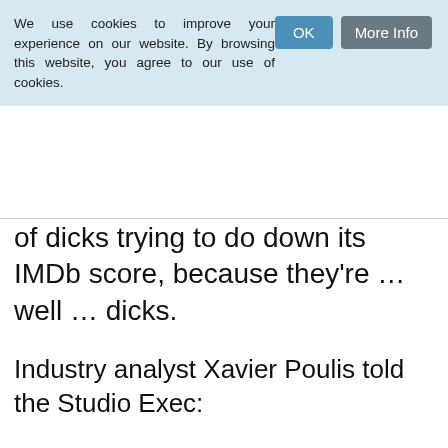We use cookies to improve your experience on our website. By browsing this website, you agree to our use of cookies.
of dicks trying to do down its IMDb score, because they're … well … dicks.
Industry analyst Xavier Poulis told the Studio Exec:
This idea that people with vaginas can be funny is not actually a new thing. In the past we had some great film comediennes like Madeline Kahn, Bernadette Peters, Diane Keaton and Goldie Hawn to name but four. However, there has always been a prevailing idea in the big studios that men are funnier than women and that's what the public